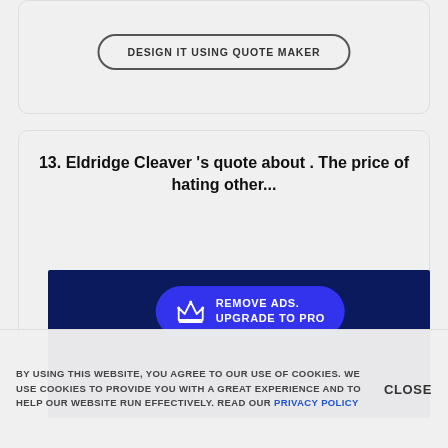[Figure (screenshot): Top card area with a button labeled 'DESIGN IT USING QUOTE MAKER']
DESIGN IT USING QUOTE MAKER
13. Eldridge Cleaver 's quote about . The price of hating other...
[Figure (screenshot): Dark blue banner with 'REMOVE ADS. UPGRADE TO PRO' pill button and partial quote text 'The price' visible at bottom]
BY USING THIS WEBSITE, YOU AGREE TO OUR USE OF COOKIES. WE USE COOKIES TO PROVIDE YOU WITH A GREAT EXPERIENCE AND TO HELP OUR WEBSITE RUN EFFECTIVELY. READ OUR PRIVACY POLICY
CLOSE